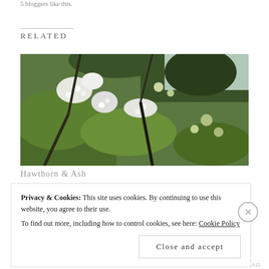5 bloggers like this.
RELATED
[Figure (photo): Hawthorn and ash tree with white blossoms and green foliage against a grey sky]
Hawthorn & Ash
Privacy & Cookies: This site uses cookies. By continuing to use this website, you agree to their use.
To find out more, including how to control cookies, see here: Cookie Policy
Close and accept
NERD FACTUAL.AG